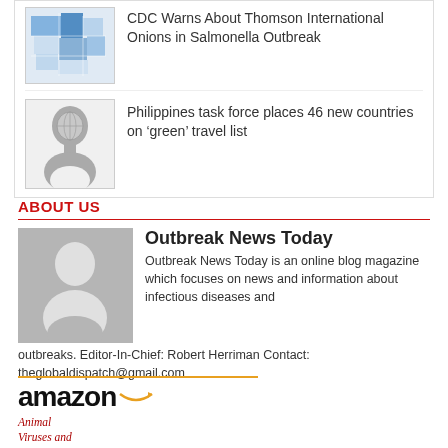[Figure (illustration): Thumbnail map image with blue/teal shading by state regions]
CDC Warns About Thomson International Onions in Salmonella Outbreak
[Figure (illustration): Thumbnail illustration of a human head silhouette with a globe/world map inside]
Philippines task force places 46 new countries on ‘green’ travel list
ABOUT US
[Figure (illustration): Grey avatar/person silhouette placeholder image]
Outbreak News Today
Outbreak News Today is an online blog magazine which focuses on news and information about infectious diseases and outbreaks. Editor-In-Chief: Robert Herriman Contact: theglobaldispatch@gmail.com
[Figure (illustration): Amazon logo with orange arrow and book cover for 'Animal Viruses and Humans: A Narrow Divide']